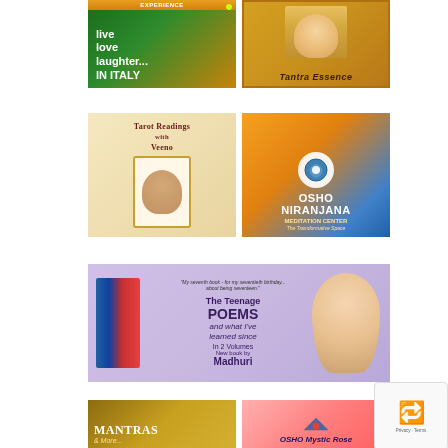[Figure (illustration): Advertisement banner: 'live love laughter... IN ITALY' on green/orange gradient background]
[Figure (photo): Advertisement: 'Tantra Essence' with woman's photo on golden background]
[Figure (illustration): Advertisement: 'Tarot Readings with Veeno' showing tarot card and woman's photo]
[Figure (illustration): Advertisement: 'OSHO NIRANJANA MEDITATION CENTER - The Transformative Space' on orange-blue gradient]
[Figure (illustration): Wide advertisement banner: 'The Teenage POEMS and what I've learned since In 2 Volumes New book by Madhuri' on purple background with books and woman photo]
[Figure (illustration): Advertisement: 'MANTRAS & More...' on golden/brown background]
[Figure (illustration): Advertisement: 'OSHO Mystic Rose' on pink/red background]
[Figure (logo): reCAPTCHA badge: Privacy - Terms]